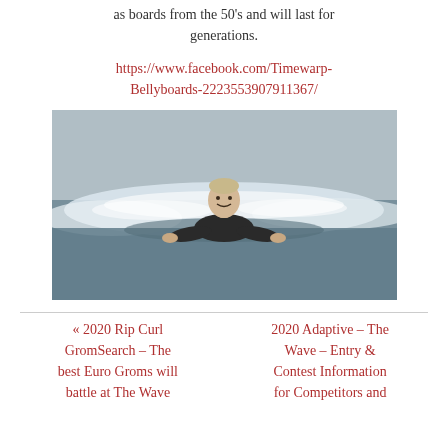as boards from the 50's and will last for generations.
https://www.facebook.com/Timewarp-Bellyboards-2223553907911367/
[Figure (photo): Person in a wetsuit riding a wave on a bellyboard at sea, smiling at the camera, with white surf around them.]
« 2020 Rip Curl GromSearch – The best Euro Groms will battle at The Wave
2020 Adaptive – The Wave – Entry & Contest Information for Competitors and